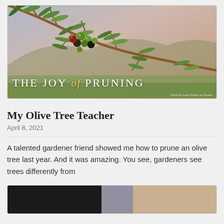[Figure (photo): Olive branch with green and dark olives hanging against a blurred landscape background, with overlay text 'THE JOY of PRUNING']
My Olive Tree Teacher
April 8, 2021
A talented gardener friend showed me how to prune an olive tree last year. And it was amazing. You see, gardeners see trees differently from
[Figure (photo): Partial view of a second article card with three image sections: dark, mid-gray, and tan/beige]